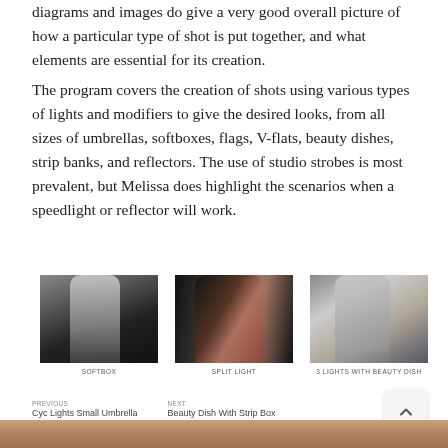diagrams and images do give a very good overall picture of how a particular type of shot is put together, and what elements are essential for its creation.
The program covers the creation of shots using various types of lights and modifiers to give the desired looks, from all sizes of umbrellas, softboxes, flags, V-flats, beauty dishes, strip banks, and reflectors. The use of studio strobes is most prevalent, but Melissa does highlight the scenarios when a speedlight or reflector will work.
[Figure (photo): Three photography lighting example photos in a row: a woman in a white patterned dress (softbox), a close-up of a woman's face in dramatic split light, and a woman in a floral dress with 3-light beauty dish setup.]
SOFTBOX
SPLIT LIGHT
3 LIGHTS WITH BEAUTY DISH
PREVIOUS: Cyc Lights Small Umbrella   NEXT: Beauty Dish With Strip Box
[Figure (photo): Partial photo visible at the bottom of the page showing a warm-toned image.]